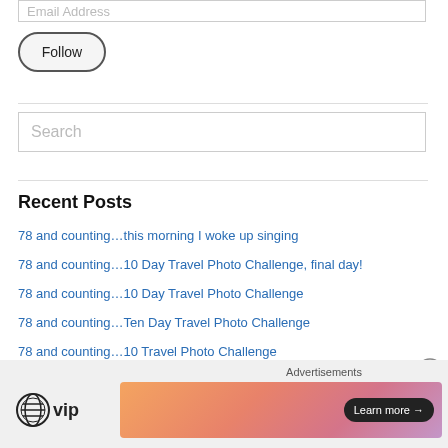Email Address
Follow
Search
Recent Posts
78 and counting…this morning I woke up singing
78 and counting…10 Day Travel Photo Challenge, final day!
78 and counting…10 Day Travel Photo Challenge
78 and counting…Ten Day Travel Photo Challenge
78 and counting…10 Travel Photo Challenge
[Figure (screenshot): Advertisement banner with WordPress VIP logo and a gradient banner with 'Learn more' button]